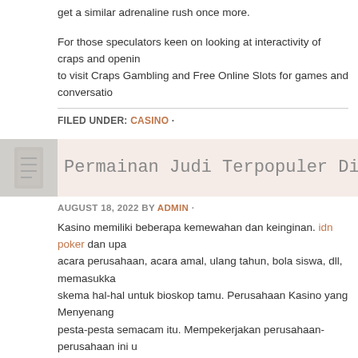get a similar adrenaline rush once more.
For those speculators keen on looking at interactivity of craps and opening to visit Craps Gambling and Free Online Slots for games and conversation.
FILED UNDER: CASINO ·
Permainan Judi Terpopuler Di Da
AUGUST 18, 2022 BY ADMIN ·
Kasino memiliki beberapa kemewahan dan keinginan. idn poker dan upa acara perusahaan, acara amal, ulang tahun, bola siswa, dll, memasukka skema hal-hal untuk bioskop tamu. Perusahaan Kasino yang Menyenang pesta-pesta semacam itu. Mempekerjakan perusahaan-perusahaan ini u dalam acara atau upacara besar, sedang populer di sirkuit pesta.
Moonshine adalah slot video 5-gulungan, 25 payline populer yang memil Moonshine adalah wasiat bertemu dengan nenek gila senjata, sheriff cou gudang penyimpanan yang penuh dengan minuman keras. Moonshine m hingga $1,00, dan jumlah sebenarnya dari koin yang dapat bertaruh per p